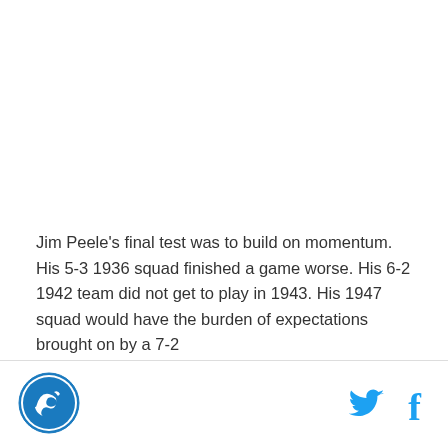Jim Peele's final test was to build on momentum. His 5-3 1936 squad finished a game worse. His 6-2 1942 team did not get to play in 1943. His 1947 squad would have the burden of expectations brought on by a 7-2
[Figure (logo): Circular logo with a dolphin or wave motif in blue and white]